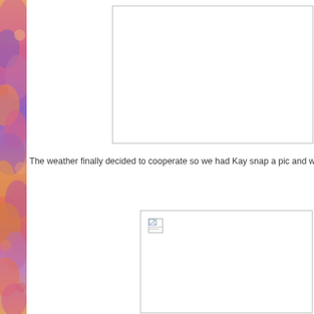[Figure (illustration): Watercolor floral/abstract decorative border on the left side of the page with warm pinks, purples, oranges and reds]
[Figure (photo): Empty image placeholder box at the top right of the page, shown with a border and white interior]
The weather finally decided to cooperate so we had Kay snap a pic and w
[Figure (photo): Image placeholder with broken image icon at bottom right, shown with a border and white interior]